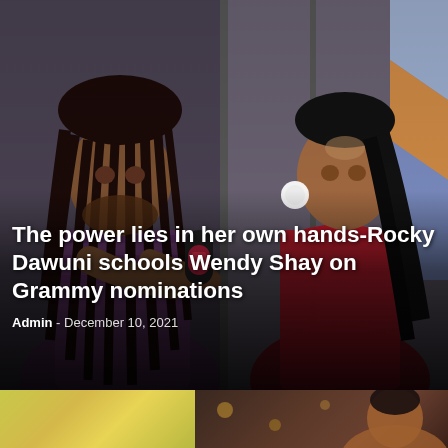[Figure (photo): Two people in an interview setting: a man with long dreadlocks on the left holding a microphone toward a woman on the right who is wearing a red off-shoulder outfit and white earrings. Background shows a grey wall and a colorful banner on the right.]
The power lies in her own hands-Rocky Dawuni schools Wendy Shay on Grammy nominations
Admin - December 10, 2021
[Figure (photo): Bottom strip showing two thumbnails: a yellowish-green gradient image on the left, and a dark photograph of a person on the right.]